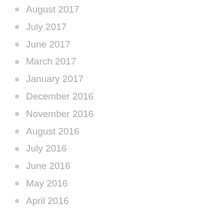August 2017
July 2017
June 2017
March 2017
January 2017
December 2016
November 2016
August 2016
July 2016
June 2016
May 2016
April 2016